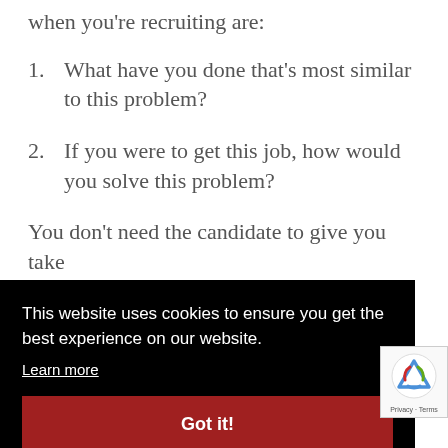The only two questions you need to ask when you're recruiting are:
1. What have you done that's most similar to this problem?
2. If you were to get this job, how would you solve this problem?
You don't need the candidate to give you [the right answer... they] take
[Figure (screenshot): Cookie consent banner overlay with black background. Text: 'This website uses cookies to ensure you get the best experience on our website.' with a 'Learn more' link and a red 'Got it!' button.]
This ensures the candidates can carry out